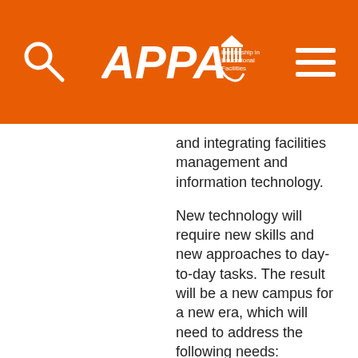[Figure (logo): APPA Leadership in Educational Facilities logo with search icon and hamburger menu on orange header background]
and integrating facilities management and information technology.
New technology will require new skills and new approaches to day-to-day tasks. The result will be a new campus for a new era, which will need to address the following needs:
Restructuring the facilities management organization to effectively integrate new technology
Crafting policies that enhance facilities/IT integration